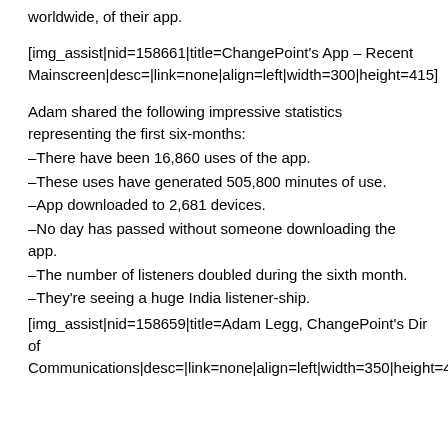worldwide, of their app.
[img_assist|nid=158661|title=ChangePoint's App – Recent Mainscreen|desc=|link=none|align=left|width=300|height=415]
Adam shared the following impressive statistics representing the first six-months:
–There have been 16,860 uses of the app.
–These uses have generated 505,800 minutes of use.
–App downloaded to 2,681 devices.
–No day has passed without someone downloading the app.
–The number of listeners doubled during the sixth month.
–They're seeing a huge India listener-ship.
[img_assist|nid=158659|title=Adam Legg, ChangePoint's Dir of Communications|desc=|link=none|align=left|width=350|height=467]